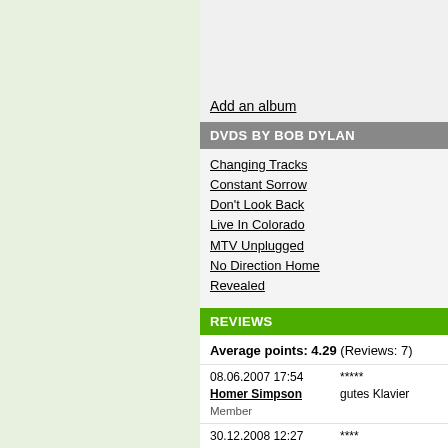Add an album
DVDS BY BOB DYLAN
Changing Tracks
Constant Sorrow
Don't Look Back
Live In Colorado
MTV Unplugged
No Direction Home
Revealed
REVIEWS
Average points: 4.29 (Reviews: 7)
08.06.2007 17:54 | Homer Simpson | Member | ***** | gutes Klavier
30.12.2008 12:27 | remember | Member | **** | Thank you Lord, zuminc... | Last edited: 10.10.2014
10.01.2010 19:49 | Rewer | hitparade.ch | **** | ...gut...
10.12.2011 18:00 | fleet61 | Member | *** | ... 3 + ...
21.09.2012 19:17 | ****